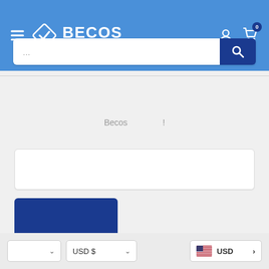[Figure (logo): BECOS - Beautiful Craft Online Store logo with diamond/checkmark icon on blue header background]
[Figure (screenshot): Search bar with ellipsis placeholder text and dark blue search button with magnifying glass icon]
Becos !
[Figure (screenshot): White rectangular input field (lower search/text area)]
[Figure (screenshot): Dark navy blue submit button]
[Figure (screenshot): Footer with language selector dropdown, USD currency dropdown, and USD flag selector with right arrow]